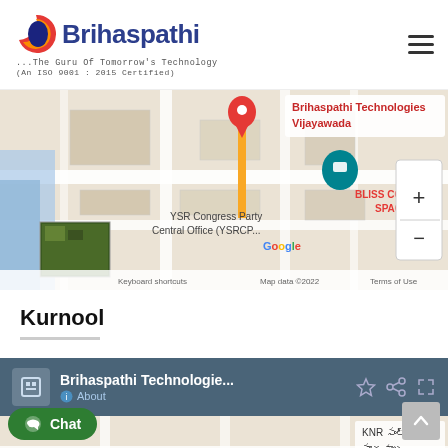[Figure (logo): Brihaspathi Technologies logo with circular flame icon, tagline '...The Guru Of Tomorrow's Technology (An ISO 9001 : 2015 Certified)']
[Figure (map): Google Map showing Brihaspathi Technologies Vijayawada location pin, BLISS COLIVING SPACES, YSR Congress Party Central Office (YSRCP...), with zoom controls and map attribution]
Kurnool
[Figure (map): Google Map for Kurnool location with Brihaspathi Technologies info bar (title, about, star, share, fullscreen icons), showing Restaurant, LEBANESE SHAWARMA, KNR labels]
[Figure (other): Green Chat button at bottom left]